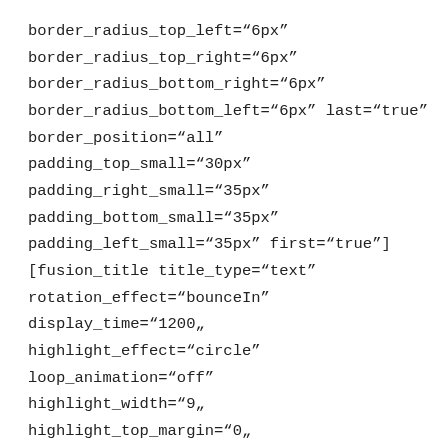border_radius_top_left="6px"
border_radius_top_right="6px"
border_radius_bottom_right="6px"
border_radius_bottom_left="6px" last="true"
border_position="all" padding_top_small="30px"
padding_right_small="35px"
padding_bottom_small="35px"
padding_left_small="35px" first="true"]
[fusion_title title_type="text"
rotation_effect="bounceIn" display_time="1200"
highlight_effect="circle" loop_animation="off"
highlight_width="9" highlight_top_margin="0"
before_text="" rotation_text="" highlight_text=""
after_text="" content_align_medium=""
content_align_small="" content_align="left"
size="2" font_size="23px" animated_font_size=""